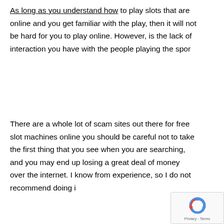As long as you understand how to play slots that are online and you get familiar with the play, then it will not be hard for you to play online. However, is the lack of interaction you have with the people playing the spor
There are a whole lot of scam sites out there for free slot machines online you should be careful not to take the first thing that you see when you are searching, and you may end up losing a great deal of money over the internet. I know from experience, so I do not recommend doing i
[Figure (logo): reCAPTCHA logo with Privacy - Terms text]